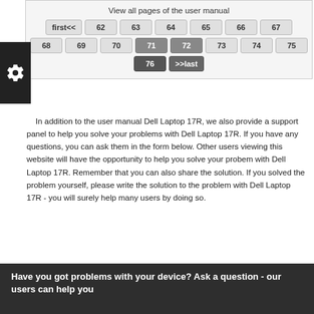View all pages of the user manual
[Figure (other): Pagination navigation buttons: first<<, 62, 63, 64, 65, 66, 67, 68, 69, 70, 71 (bold), 72 (bold), 73, 74, 75, 76 (active/dark), >>last (dark)]
In addition to the user manual Dell Laptop 17R, we also provide a support panel to help you solve your problems with Dell Laptop 17R. If you have any questions, you can ask them in the form below. Other users viewing this website will have the opportunity to help you solve your probem with Dell Laptop 17R. Remember that you can also share the solution. If you solved the problem yourself, please write the solution to the problem with Dell Laptop 17R - you will surely help many users by doing so.
Have you got problems with your device? Ask a question - our users can help you